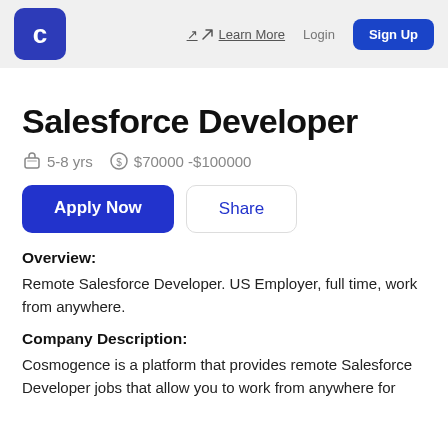C | Learn More | Login | Sign Up
Salesforce Developer
5-8 yrs   $70000 -$100000
Apply Now   Share
Overview:
Remote Salesforce Developer. US Employer, full time, work from anywhere.
Company Description:
Cosmogence is a platform that provides remote Salesforce Developer jobs that allow you to work from anywhere for